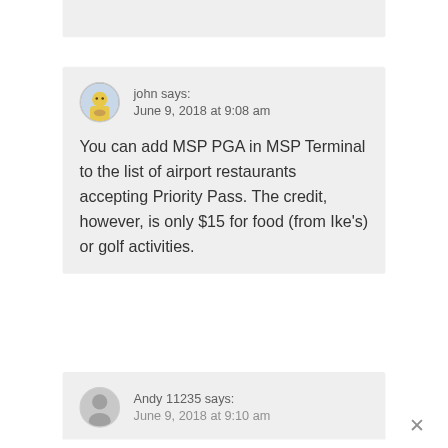[Figure (screenshot): Top of a comment card partially cut off at the top of the page]
john says:
June 9, 2018 at 9:08 am

You can add MSP PGA in MSP Terminal to the list of airport restaurants accepting Priority Pass. The credit, however, is only $15 for food (from Ike's) or golf activities.
Andy 11235 says:
June 9, 2018 at 9:10 am